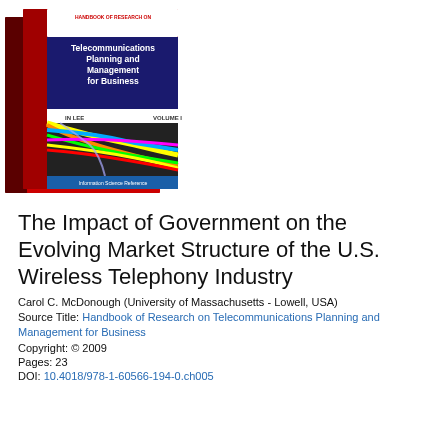[Figure (photo): Two-volume book set: Handbook of Research on Telecommunications Planning and Management for Business by In Lee, Volume I, with colorful fiber optic cables on cover, red and blue binding.]
The Impact of Government on the Evolving Market Structure of the U.S. Wireless Telephony Industry
Carol C. McDonough (University of Massachusetts - Lowell, USA)
Source Title: Handbook of Research on Telecommunications Planning and Management for Business
Copyright: © 2009
Pages: 23
DOI: 10.4018/978-1-60566-194-0.ch005